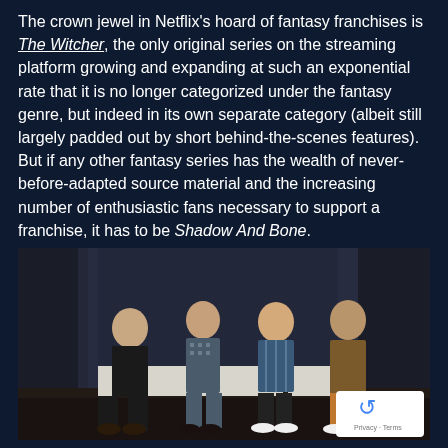The crown jewel in Netflix's hoard of fantasy franchises is The Witcher, the only original series on the streaming platform growing and expanding at such an exponential rate that it is no longer categorized under the fantasy genre, but indeed in its own separate category (albeit still largely padded out by short behind-the-scenes features). But if any other fantasy series has the wealth of never-before-adapted source material and the increasing number of enthusiastic fans necessary to support a franchise, it has to be Shadow And Bone.
[Figure (photo): Four young people (actors) seated together on white blocks in front of a dark curtain backdrop, dressed in casual clothing. A reCAPTCHA badge is visible in the bottom right corner.]